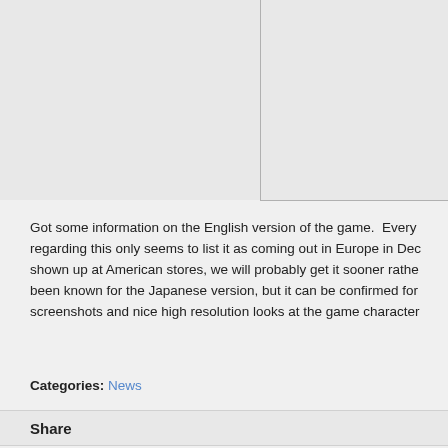[Figure (screenshot): Two-panel image area at top of page; left panel is a lighter grey box, right panel has a grey box with visible border on left and bottom sides]
Got some information on the English version of the game.  Every regarding this only seems to list it as coming out in Europe in Dec shown up at American stores, we will probably get it sooner rathe been known for the Japanese version, but it can be confirmed for screenshots and nice high resolution looks at the game character
Categories: News
Share